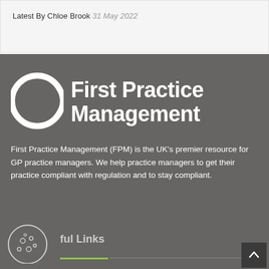Latest By Chloe Brook 31 May 2022
[Figure (logo): First Practice Management logo — white crescent/circle icon on left, bold white text 'First Practice Management' on right, on dark grey background]
First Practice Management (FPM) is the UK's premier resource for GP practice managers. We help practice managers to get their practice compliant with regulation and to stay compliant.
ful Links